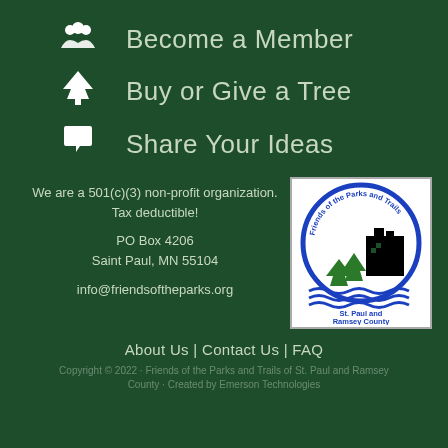Become a Member
Buy or Give a Tree
Share Your Ideas
We are a 501(c)(3) non-profit organization. Tax deductible!

PO Box 4206
Saint Paul, MN 55104

info@friendsoftheparks.org
[Figure (logo): Friends of the Parks and Trails of St. Paul and Ramsey County logo — circular blue border with text, green trees, black cityscape silhouette, and blue waves]
About Us | Contact Us | FAQ
Copyright © 2022 · Friends of the Parks and Trails of St. Paul and Ramsey County · Created by Emerson Technologies